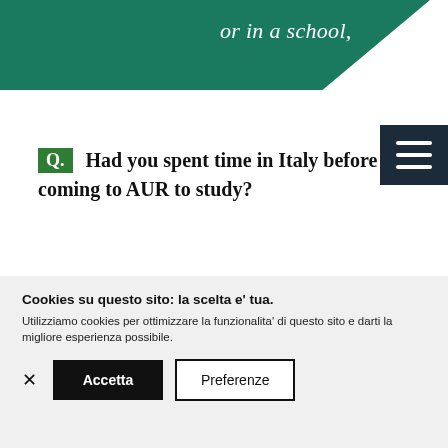or in a school,
Q. Had you spent time in Italy before coming to AUR to study?
J. For our first anniversary, we came to Rome to explore the college and it confirmed for us that we wanted to come here.
Cookies su questo sito: la scelta e' tua.
Utilizziamo cookies per ottimizzare la funzionalita' di questo sito e darti la migliore esperienza possibile.
Accetta
Preferenze